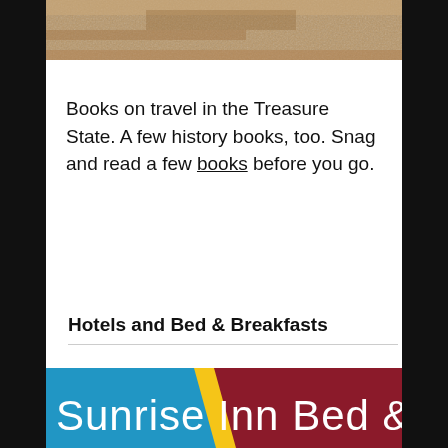[Figure (photo): Partial top image showing a textured brownish-tan surface, likely a book cover or aged paper texture]
Books on travel in the Treasure State. A few history books, too. Snag and read a few books before you go.
Hotels and Bed & Breakfasts
[Figure (photo): Sunrise Inn Bed & Breakfast logo/sign with blue, yellow, and dark red/maroon background colors with white text reading 'Sunrise Inn Bed &']